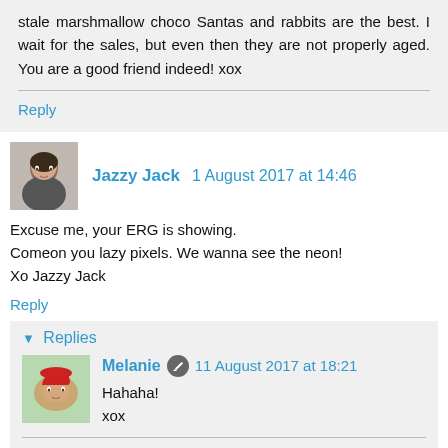stale marshmallow choco Santas and rabbits are the best. I wait for the sales, but even then they are not properly aged. You are a good friend indeed! xox
Reply
Jazzy Jack 1 August 2017 at 14:46
Excuse me, your ERG is showing.
Comeon you lazy pixels. We wanna see the neon!
Xo Jazzy Jack
Reply
Replies
Melanie 11 August 2017 at 18:21
Hahaha!
xox